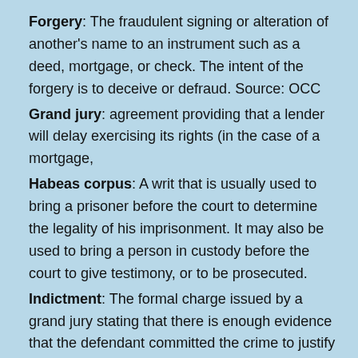Forgery: The fraudulent signing or alteration of another's name to an instrument such as a deed, mortgage, or check. The intent of the forgery is to deceive or defraud. Source: OCC
Grand jury: agreement providing that a lender will delay exercising its rights (in the case of a mortgage,
Habeas corpus: A writ that is usually used to bring a prisoner before the court to determine the legality of his imprisonment. It may also be used to bring a person in custody before the court to give testimony, or to be prosecuted.
Indictment: The formal charge issued by a grand jury stating that there is enough evidence that the defendant committed the crime to justify having a trial; it is used primarily for felonies.
Injunction: An order of the court prohibiting (or